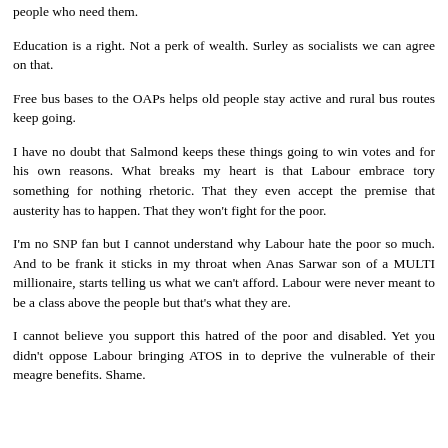people who need them.
Education is a right. Not a perk of wealth. Surley as socialists we can agree on that.
Free bus bases to the OAPs helps old people stay active and rural bus routes keep going.
I have no doubt that Salmond keeps these things going to win votes and for his own reasons. What breaks my heart is that Labour embrace tory something for nothing rhetoric. That they even accept the premise that austerity has to happen. That they won't fight for the poor.
I'm no SNP fan but I cannot understand why Labour hate the poor so much. And to be frank it sticks in my throat when Anas Sarwar son of a MULTI millionaire, starts telling us what we can't afford. Labour were never meant to be a class above the people but that's what they are.
I cannot believe you support this hatred of the poor and disabled. Yet you didn't oppose Labour bringing ATOS in to deprive the vulnerable of their meagre benefits. Shame.